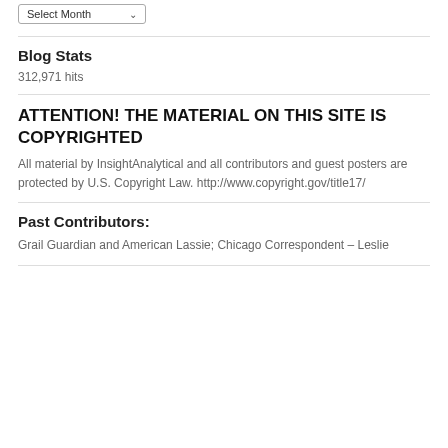[Figure (screenshot): Dropdown select box labeled 'Select Month' with a down arrow]
Blog Stats
312,971 hits
ATTENTION! THE MATERIAL ON THIS SITE IS COPYRIGHTED
All material by InsightAnalytical and all contributors and guest posters are protected by U.S. Copyright Law. http://www.copyright.gov/title17/
Past Contributors:
Grail Guardian and American Lassie; Chicago Correspondent – Leslie